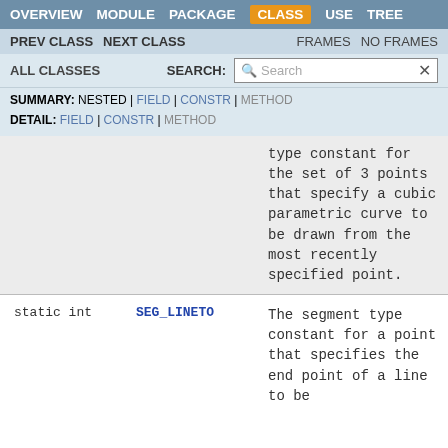OVERVIEW MODULE PACKAGE CLASS USE TREE
PREV CLASS NEXT CLASS FRAMES NO FRAMES
ALL CLASSES SEARCH:
SUMMARY: NESTED | FIELD | CONSTR | METHOD DETAIL: FIELD | CONSTR | METHOD
|  | Field | Description |
| --- | --- | --- |
| static int | SEG_CUBICTO | type constant for the set of 3 points that specify a cubic parametric curve to be drawn from the most recently specified point. |
| static int | SEG_LINETO | The segment type constant for a point that specifies the end point of a line to be |